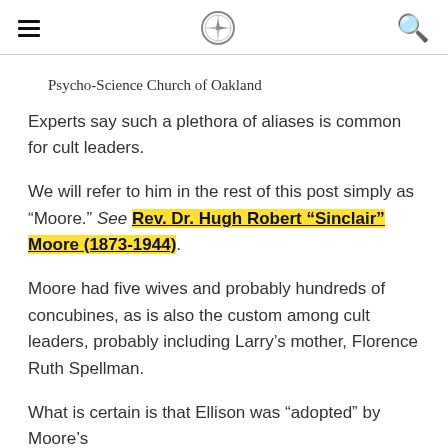[hamburger menu] [compass logo] [search icon]
Psycho-Science Church of Oakland
Experts say such a plethora of aliases is common for cult leaders.
We will refer to him in the rest of this post simply as "Moore." See Rev. Dr. Hugh Robert “Sinclair” Moore (1873-1944).
Moore had five wives and probably hundreds of concubines, as is also the custom among cult leaders, probably including Larry’s mother, Florence Ruth Spellman.
What is certain is that Ellison was “adopted” by Moore’s